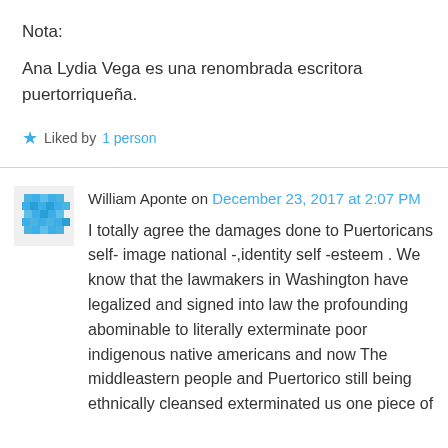Nota:
Ana Lydia Vega es una renombrada escritora puertorriqueña.
★ Liked by 1 person
William Aponte on December 23, 2017 at 2:07 PM
I totally agree the damages done to Puertoricans self- image national -,identity self -esteem . We know that the lawmakers in Washington have legalized and signed into law the profounding abominable to literally exterminate poor indigenous native americans and now The middleastern people and Puertorico still being ethnically cleansed exterminated us one piece of